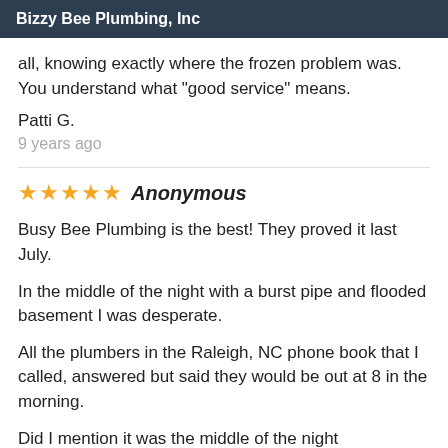Bizzy Bee Plumbing, Inc
all, knowing exactly where the frozen problem was. You understand what "good service" means.
Patti G.
9 years ago
★★★★★ Anonymous
Busy Bee Plumbing is the best! They proved it last July.
In the middle of the night with a burst pipe and flooded basement I was desperate.
All the plumbers in the Raleigh, NC phone book that I called, answered but said they would be out at 8 in the morning.
Did I mention it was the middle of the night